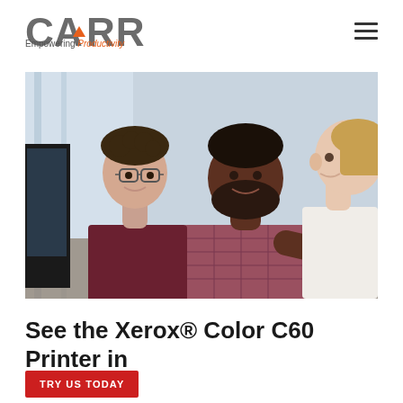CARR Empowering Productivity
[Figure (photo): Three office workers — two men and a woman — gathered around a desk with a computer monitor, looking at documents and a laptop keyboard. Office setting with large windows.]
See the Xerox® Color C60 Printer in
TRY US TODAY